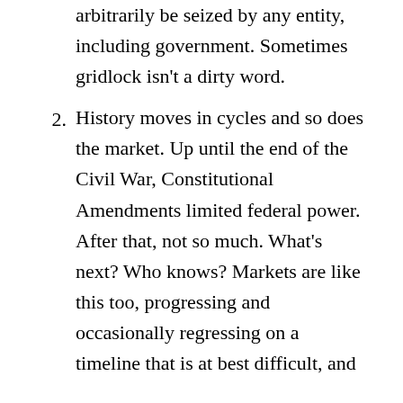arbitrarily be seized by any entity, including government. Sometimes gridlock isn't a dirty word.
History moves in cycles and so does the market. Up until the end of the Civil War, Constitutional Amendments limited federal power. After that, not so much. What's next? Who knows? Markets are like this too, progressing and occasionally regressing on a timeline that is at best difficult, and